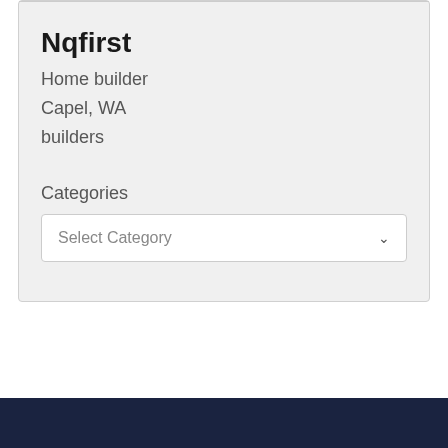Nqfirst
Home builder
Capel, WA
builders
Categories
Select Category